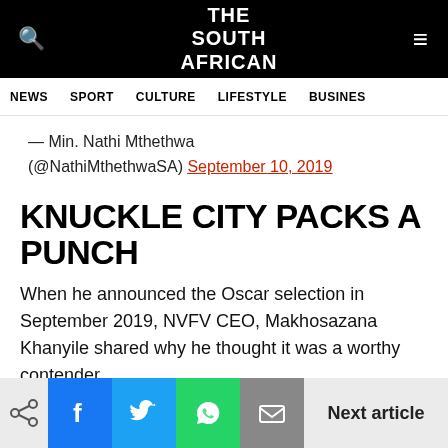THE SOUTH AFRICAN
NEWS  SPORT  CULTURE  LIFESTYLE  BUSINES
— Min. Nathi Mthethwa (@NathiMthethwaSA) September 10, 2019
KNUCKLE CITY PACKS A PUNCH
When he announced the Oscar selection in September 2019, NVFV CEO, Makhosazana Khanyile shared why he thought it was a worthy contender.
“The film is as hard-hitting as its title suggests,” he
Next article